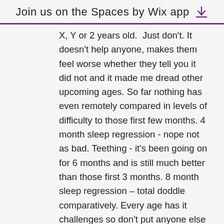Join us on the Spaces by Wix app
X, Y or 2 years old. Just don't. It doesn't help anyone, makes them feel worse whether they tell you it did not and it made me dread other upcoming ages. So far nothing has even remotely compared in levels of difficulty to those first few months. 4 month sleep regression - nope not as bad. Teething - it's been going on for 6 months and is still much better than those first 3 months. 8 month sleep regression - total doddle comparatively. Every age has it challenges so don't put anyone else down for finding a certain period difficult. A friend of mind found the 8-10 month age period really difficult, I'm sure lots of people find the 2-3 year old stage difficult. It's all down to individuals and individual children so try not to